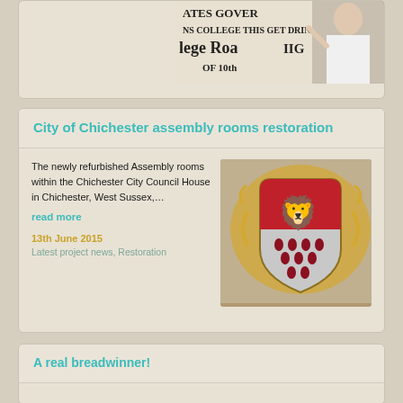[Figure (photo): Partial view of a card showing a photo of a person pointing at a sign with text: ATES GOVERI, NS COLLEGE THIS GET DRIN, lege Road IIG, OF 10th]
City of Chichester assembly rooms restoration
The newly refurbished Assembly rooms within the Chichester City Council House in Chichester, West Sussex,...
read more
13th June 2015
Latest project news, Restoration
[Figure (photo): Coat of arms / heraldic shield featuring a lion on a red background in the upper half and red droplets on white in the lower half, surrounded by ornate gold scrollwork]
A real breadwinner!